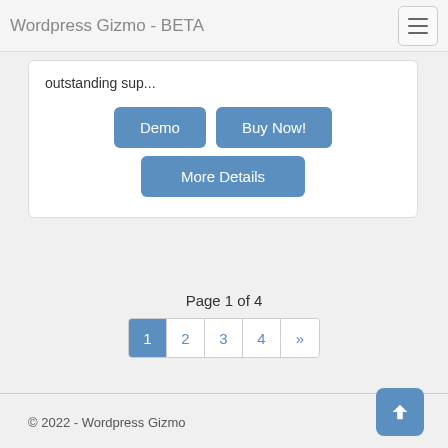Wordpress Gizmo - BETA
outstanding sup...
Demo  Buy Now!  More Details
Page 1 of 4
1  2  3  4  »
© 2022 - Wordpress Gizmo